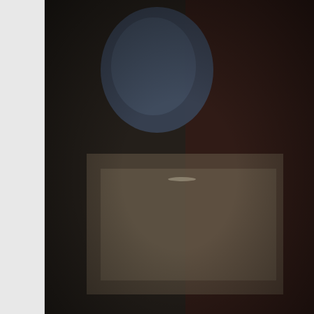[Figure (photo): Blurry dark photograph showing what appears to be a blue object and dark reddish tones, likely taken indoors. Details are unclear due to motion blur or poor lighting.]
Image: Sunday Mail
Malcolm, also known as The Fat Controller, and Hampden Cars and Southside Radio Cars to
The new firm is run by Hampden Cars boss described as a mini cab “turf war”.
Malcolm has relinquished his majority stake occurred and is still listed on Companies Ho
When contacted, a representative for Malco
She said: “When the demand for payment o